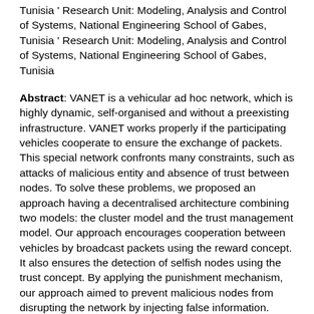Tunisia ' Research Unit: Modeling, Analysis and Control of Systems, National Engineering School of Gabes, Tunisia ' Research Unit: Modeling, Analysis and Control of Systems, National Engineering School of Gabes, Tunisia
Abstract: VANET is a vehicular ad hoc network, which is highly dynamic, self-organised and without a preexisting infrastructure. VANET works properly if the participating vehicles cooperate to ensure the exchange of packets. This special network confronts many constraints, such as attacks of malicious entity and absence of trust between nodes. To solve these problems, we proposed an approach having a decentralised architecture combining two models: the cluster model and the trust management model. Our approach encourages cooperation between vehicles by broadcast packets using the reward concept. It also ensures the detection of selfish nodes using the trust concept. By applying the punishment mechanism, our approach aimed to prevent malicious nodes from disrupting the network by injecting false information. Besides, in our network, we guaranteed authentic forwarding packets which were controlled by the group leader which takes the function of 'watchdog'. Our approach is based on asymmetric cryptography, which used RSA encryption and digital signature to ensure security.